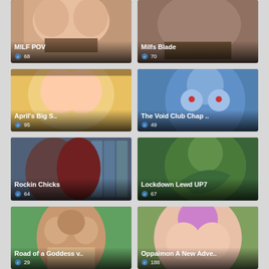[Figure (screenshot): MILF POV game thumbnail - anime style]
[Figure (screenshot): Milfs Blade game thumbnail - anime style]
[Figure (screenshot): April's Big S.. game thumbnail - anime style]
[Figure (screenshot): The Void Club Chap .. game thumbnail - blue character]
[Figure (screenshot): Rockin Chicks game thumbnail - 3D characters in lockers]
[Figure (screenshot): Lockdown Lewd UP7 game thumbnail - green cartoon]
[Figure (screenshot): Road of a Goddess v.. game thumbnail - 3D character]
[Figure (screenshot): Oppaimon A New Adve.. game thumbnail - anime pink hair]